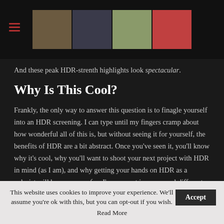[Navigation header with hamburger menu and thumbnail images]
And these peak HDR-strenth highlights look spectacular.
Why Is This Cool?
Frankly, the only way to answer this question is to finagle yourself into an HDR screening. I can type until my fingers cramp about how wonderful all of this is, but without seeing it for yourself, the benefits of HDR are a bit abstract. Once you've seen it, you'll know why it's cool, why you'll want to shoot your next project with HDR in mind (as I am), and why getting your hands on HDR as a colorist will be enormous fun. I've now sat in on several different HDR
This website uses cookies to improve your experience. We'll assume you're ok with this, but you can opt-out if you wish. Accept
Read More